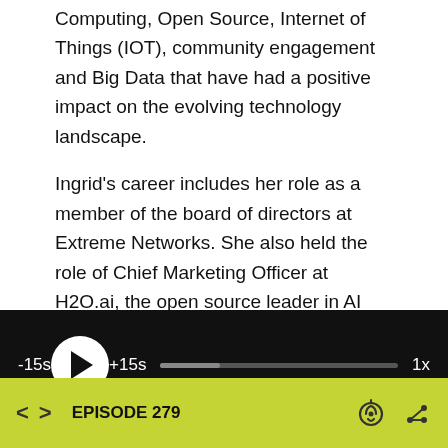Computing, Open Source, Internet of Things (IOT), community engagement and Big Data that have had a positive impact on the evolving technology landscape.
Ingrid's career includes her role as a member of the board of directors at Extreme Networks. She also held the role of Chief Marketing Officer at H2O.ai, the open source leader in AI and machine learning, where she led marketing teams
[Figure (screenshot): Podcast audio player bar with black background showing -15s skip back, play button (white circle with triangle), +15s skip forward, a progress bar, and 1x playback speed]
EPISODE 279